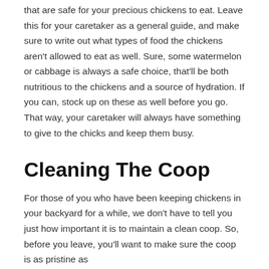that are safe for your precious chickens to eat. Leave this for your caretaker as a general guide, and make sure to write out what types of food the chickens aren't allowed to eat as well. Sure, some watermelon or cabbage is always a safe choice, that'll be both nutritious to the chickens and a source of hydration. If you can, stock up on these as well before you go. That way, your caretaker will always have something to give to the chicks and keep them busy.
Cleaning The Coop
For those of you who have been keeping chickens in your backyard for a while, we don't have to tell you just how important it is to maintain a clean coop. So, before you leave, you'll want to make sure the coop is as pristine as